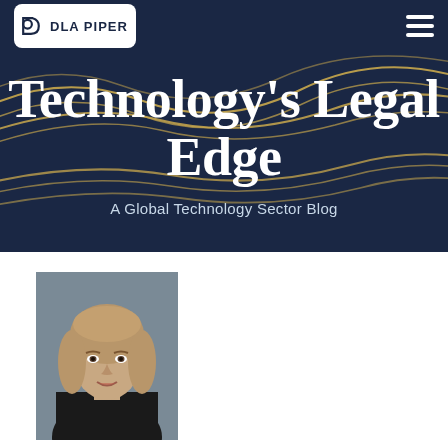DLA PIPER
Technology's Legal Edge
A Global Technology Sector Blog
[Figure (photo): Headshot of a woman with medium-length blonde hair, wearing a black jacket, photographed against a grey background.]